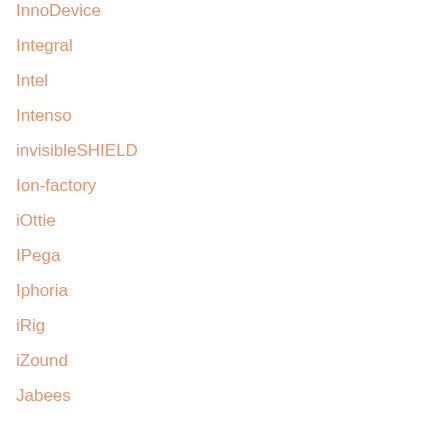InnoDevice
Integral
Intel
Intenso
invisibleSHIELD
Ion-factory
iOttie
IPega
Iphoria
iRig
iZound
Jabees